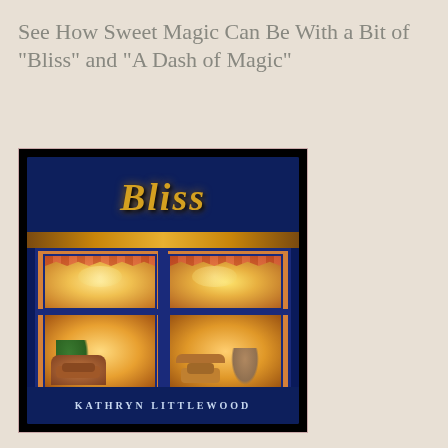See How Sweet Magic Can Be With a Bit of "Bliss" and "A Dash of Magic"
[Figure (illustration): Book cover of 'Bliss' by Kathryn Littlewood, showing an illuminated bakery storefront at night. The cover features a dark blue building facade with gold 'Bliss' lettering on the sign. Large windows reveal a warmly lit interior with baked goods, cakes, and characters inside. The author name 'KATHRYN LITTLEWOOD' appears at the bottom in white letters on dark blue.]